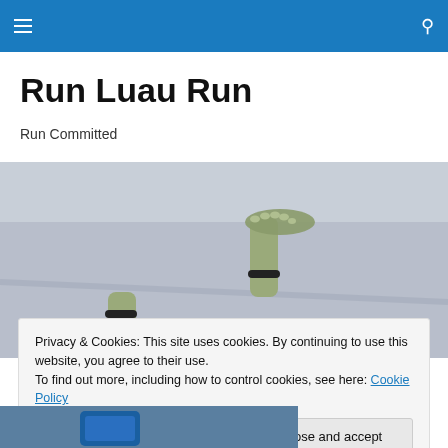≡  🔍
Run Luau Run
Run Committed
[Figure (photo): Close-up of a runner's feet wearing minimalist toe shoes/socks on a road surface, mid-stride, casting shadows.]
Privacy & Cookies: This site uses cookies. By continuing to use this website, you agree to their use.
To find out more, including how to control cookies, see here: Cookie Policy
[Figure (photo): Partial view of a person holding a blue object, visible at the bottom left of the page.]